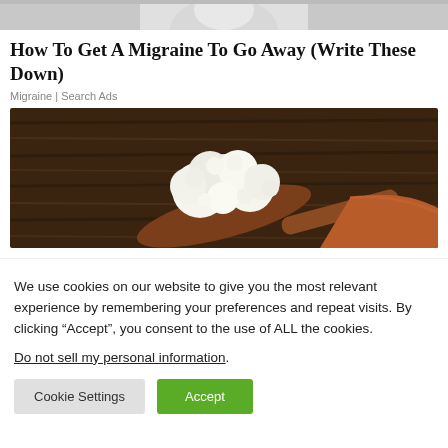[Figure (photo): Partial cropped photo of a person (head/shoulders, black and white or grayscale) at the top of the page]
How To Get A Migraine To Go Away (Write These Down)
Migraine | Search Ads
[Figure (photo): Photo of white cauliflower-like food (possibly kefir grains or cottage cheese) on a wooden spoon against a dark wooden background]
We use cookies on our website to give you the most relevant experience by remembering your preferences and repeat visits. By clicking “Accept”, you consent to the use of ALL the cookies.
Do not sell my personal information.
Cookie Settings   Accept